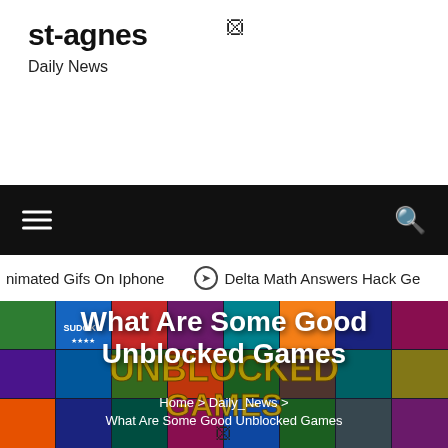st-agnes
Daily News
[Figure (screenshot): Black navigation bar with hamburger menu icon on left and search icon on right]
nimated Gifs On Iphone   ⊙ Delta Math Answers Hack Ge
[Figure (screenshot): Colorful unblocked games website hero image with game tiles in background]
What Are Some Good Unblocked Games
Home > Daily_News > What Are Some Good Unblocked Games